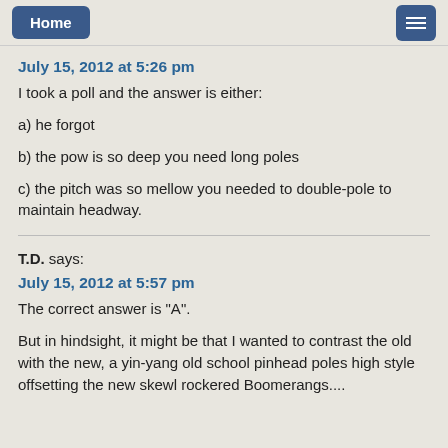Home | [menu]
July 15, 2012 at 5:26 pm
I took a poll and the answer is either:
a) he forgot
b) the pow is so deep you need long poles
c) the pitch was so mellow you needed to double-pole to maintain headway.
T.D. says:
July 15, 2012 at 5:57 pm
The correct answer is "A".
But in hindsight, it might be that I wanted to contrast the old with the new, a yin-yang old school pinhead poles high style offsetting the new skewl rockered Boomerangs....